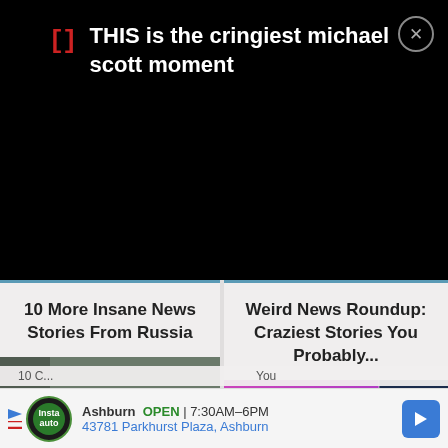[Figure (screenshot): Video thumbnail banner on black background with red bracket icon and white text: 'THIS is the cringiest michael scott moment', with close button (X in circle) top right]
10 More Insane News Stories From Russia
Weird News Roundup: Craziest Stories You Probably...
[Figure (photo): Two seals with open mouths appearing to laugh or yell, gray fur, photographed outdoors]
[Figure (photo): KISS band member in black and white face paint playing guitar on stage with purple/pink background, plus partial underwater creature image on right]
Ashburn  OPEN  7:30AM–6PM
43781 Parkhurst Plaza, Ashburn